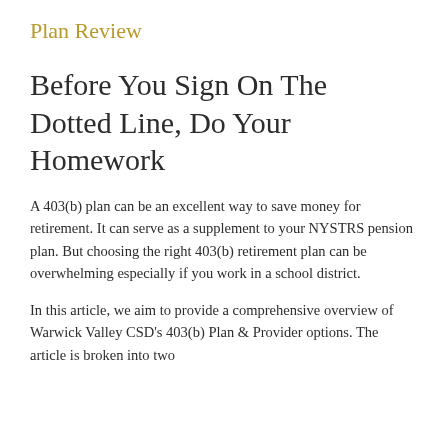Plan Review
Before You Sign On The Dotted Line, Do Your Homework
A 403(b) plan can be an excellent way to save money for retirement. It can serve as a supplement to your NYSTRS pension plan. But choosing the right 403(b) retirement plan can be overwhelming especially if you work in a school district.
In this article, we aim to provide a comprehensive overview of Warwick Valley CSD's 403(b) Plan & Provider options. The article is broken into two